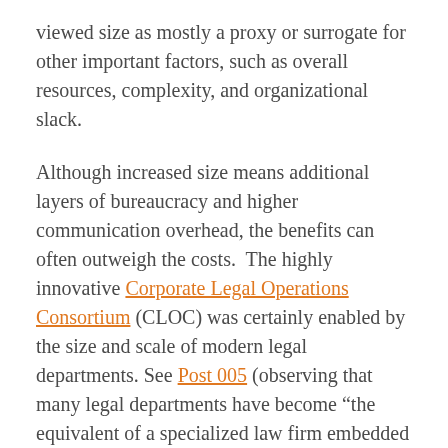viewed size as mostly a proxy or surrogate for other important factors, such as overall resources, complexity, and organizational slack.
Although increased size means additional layers of bureaucracy and higher communication overhead, the benefits can often outweigh the costs. The highly innovative Corporate Legal Operations Consortium (CLOC) was certainly enabled by the size and scale of modern legal departments. See Post 005 (observing that many legal departments have become “the equivalent of a specialized law firm embedded inside a large corporation”). Likewise, Part II